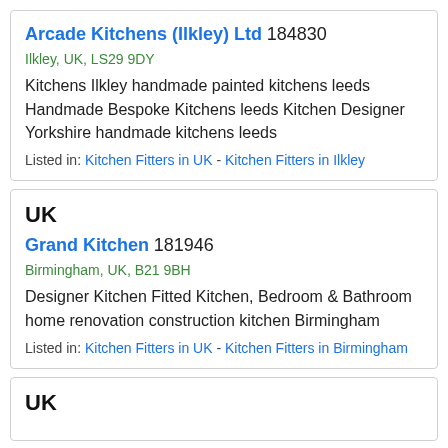Arcade Kitchens (Ilkley) Ltd 184830
Ilkley, UK, LS29 9DY
Kitchens Ilkley handmade painted kitchens leeds Handmade Bespoke Kitchens leeds Kitchen Designer Yorkshire handmade kitchens leeds
Listed in: Kitchen Fitters in UK - Kitchen Fitters in Ilkley
UK
Grand Kitchen 181946
Birmingham, UK, B21 9BH
Designer Kitchen Fitted Kitchen, Bedroom & Bathroom home renovation construction kitchen Birmingham
Listed in: Kitchen Fitters in UK - Kitchen Fitters in Birmingham
UK